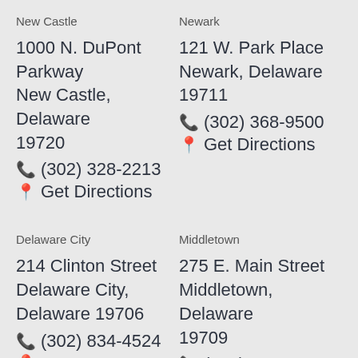New Castle
1000 N. DuPont Parkway
New Castle, Delaware 19720
☎ (302) 328-2213
📍 Get Directions
Newark
121 W. Park Place
Newark, Delaware 19711
☎ (302) 368-9500
📍 Get Directions
Delaware City
214 Clinton Street
Delaware City, Delaware 19706
☎ (302) 834-4524
📍 Get Directions
Middletown
275 E. Main Street
Middletown, Delaware 19709
☎ (302) 378-0300
📍 Get Directions